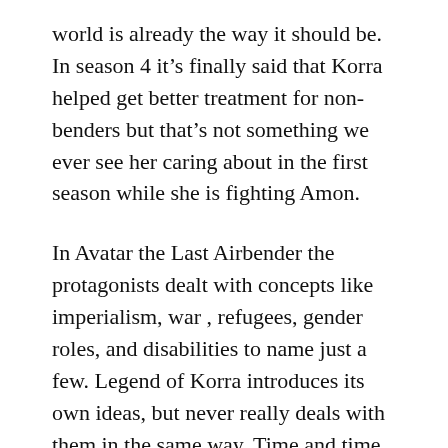world is already the way it should be. In season 4 it’s finally said that Korra helped get better treatment for non-benders but that’s not something we ever see her caring about in the first season while she is fighting Amon.
In Avatar the Last Airbender the protagonists dealt with concepts like imperialism, war , refugees, gender roles, and disabilities to name just a few. Legend of Korra introduces its own ideas, but never really deals with them in the same way. Time and time again Korra sees the problems that gave rise to the villains she has to face and each time she turns the other way.